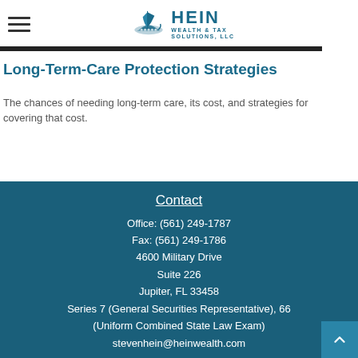[Figure (logo): Hein Wealth & Tax Solutions, LLC logo with Viking ship icon and text]
Long-Term-Care Protection Strategies
The chances of needing long-term care, its cost, and strategies for covering that cost.
Contact
Office: (561) 249-1787
Fax: (561) 249-1786
4600 Military Drive
Suite 226
Jupiter, FL 33458
Series 7 (General Securities Representative), 66 (Uniform Combined State Law Exam)
stevenhein@heinwealth.com